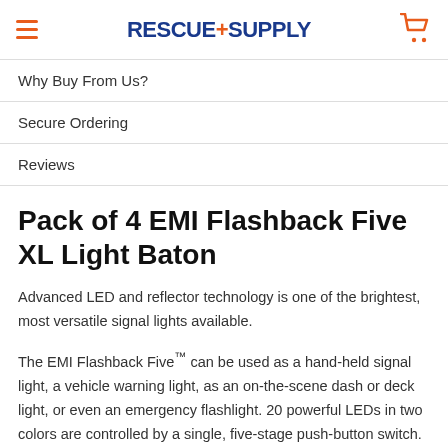RESCUE+SUPPLY
Why Buy From Us?
Secure Ordering
Reviews
Pack of 4 EMI Flashback Five XL Light Baton
Advanced LED and reflector technology is one of the brightest, most versatile signal lights available.
The EMI Flashback Five™ can be used as a hand-held signal light, a vehicle warning light, as an on-the-scene dash or deck light, or even an emergency flashlight. 20 powerful LEDs in two colors are controlled by a single, five-stage push-button switch.